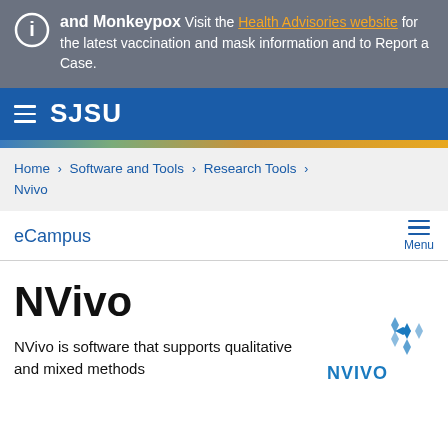and Monkeypox
Visit the Health Advisories website for the latest vaccination and mask information and to Report a Case.
SJSU
Home › Software and Tools › Research Tools › Nvivo
eCampus
NVivo
NVivo is software that supports qualitative and mixed methods...
[Figure (logo): NVivo logo with blue star/cross icon and NVIVO text]